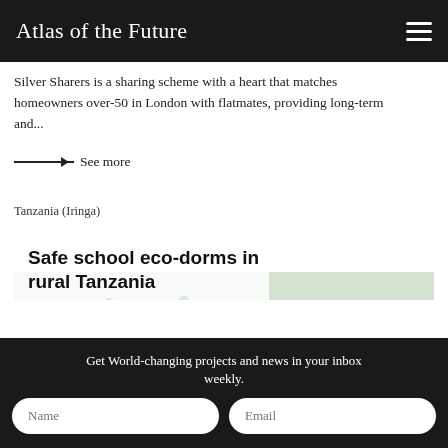Atlas of the Future
Silver Sharers is a sharing scheme with a heart that matches homeowners over-50 in London with flatmates, providing long-term and...
→ See more
Tanzania (Iringa)
Safe school eco-dorms in rural Tanzania
[Figure (photo): School children in green uniforms sitting in a classroom, smiling and raising hands]
Get World-changing projects and news in your inbox weekly.